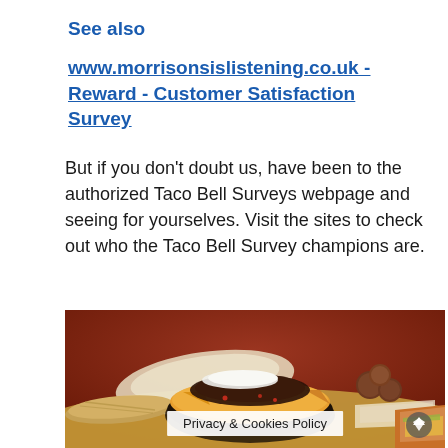See also
www.morrisonsislistening.co.uk - Reward - Customer Satisfaction Survey
But if you don't doubt us, have been to the authorized Taco Bell Surveys webpage and seeing for yourselves. Visit the sites to check out who the Taco Bell Survey champions are.
[Figure (photo): Photo of Taco Bell food spread on a table including a bowl of nachos with meat and cheese, a burrito, small round donuts, and other wrapped items, with a dark red/brown background]
Privacy & Cookies Policy